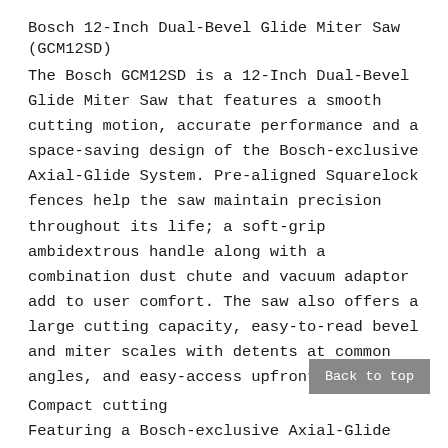Bosch 12-Inch Dual-Bevel Glide Miter Saw (GCM12SD)
The Bosch GCM12SD is a 12-Inch Dual-Bevel Glide Miter Saw that features a smooth cutting motion, accurate performance and a space-saving design of the Bosch-exclusive Axial-Glide System. Pre-aligned Squarelock fences help the saw maintain precision throughout its life; a soft-grip ambidextrous handle along with a combination dust chute and vacuum adaptor add to user comfort. The saw also offers a large cutting capacity, easy-to-read bevel and miter scales with detents at common angles, and easy-access upfront controls.
Compact cutting
Featuring a Bosch-exclusive Axial-Glide system for